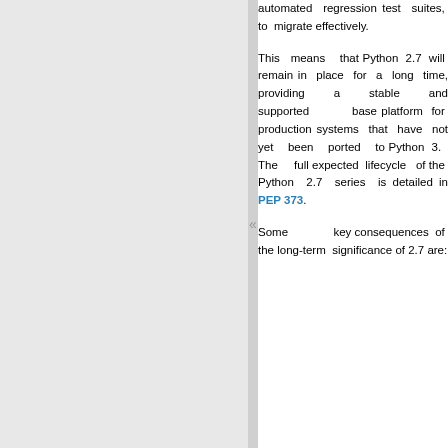automated regression test suites, to migrate effectively.
This means that Python 2.7 will remain in place for a long time, providing a stable and supported base platform for production systems that have not yet been ported to Python 3. The full expected lifecycle of the Python 2.7 series is detailed in PEP 373.
Some key consequences of the long-term significance of 2.7 are: